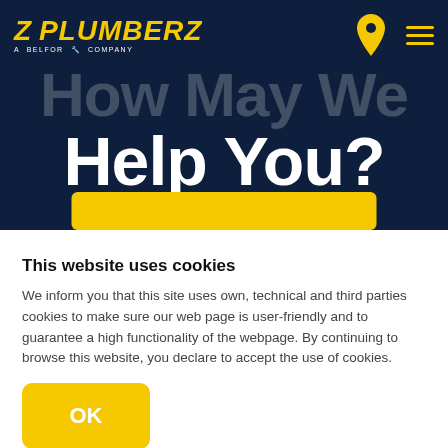[Figure (logo): Z Plumberz logo — yellow italic text on dark navy background with tagline 'A Belfor Company']
How May We Help You?
This website uses cookies
We inform you that this site uses own, technical and third parties cookies to make sure our web page is user-friendly and to guarantee a high functionality of the webpage. By continuing to browse this website, you declare to accept the use of cookies.
OK